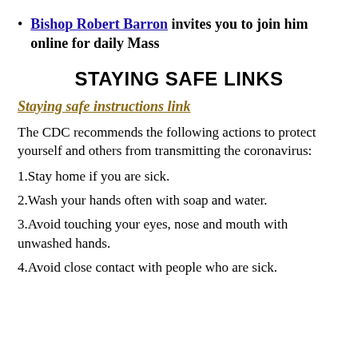Bishop Robert Barron invites you to join him online for daily Mass
STAYING SAFE LINKS
Staying safe instructions link
The CDC recommends the following actions to protect yourself and others from transmitting the coronavirus:
1.Stay home if you are sick.
2.Wash your hands often with soap and water.
3.Avoid touching your eyes, nose and mouth with unwashed hands.
4.Avoid close contact with people who are sick.